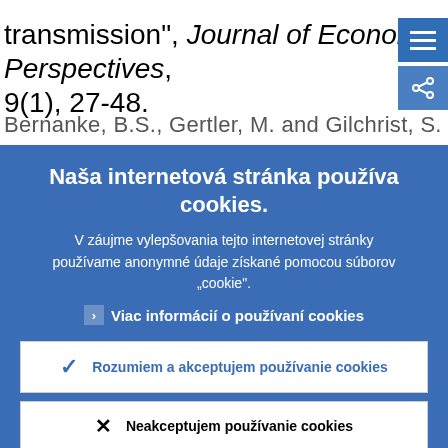transmission”, Journal of Economic Perspectives, 9(1), 27-48.
Bernanke, B.S., Gertler, M. and Gilchrist, S.
Naša internetová stránka používa cookies.
V záujme vylepšovania tejto internetovej stránky používame anonymné údaje získane pomocou súborov „cookie“.
Viac informácíí o používaní cookies
Rozumiem a akceptujem používanie cookies
Neakceptujem používanie cookies